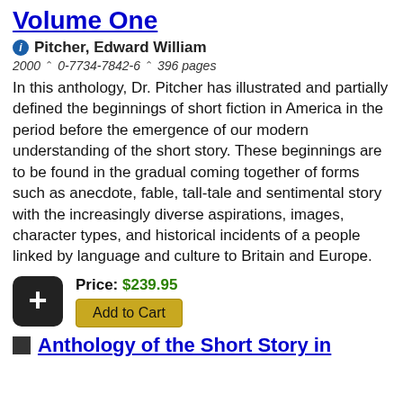Volume One
Pitcher, Edward William
2000 ^ 0-7734-7842-6 ^ 396 pages
In this anthology, Dr. Pitcher has illustrated and partially defined the beginnings of short fiction in America in the period before the emergence of our modern understanding of the short story. These beginnings are to be found in the gradual coming together of forms such as anecdote, fable, tall-tale and sentimental story with the increasingly diverse aspirations, images, character types, and historical incidents of a people linked by language and culture to Britain and Europe.
Price: $239.95
Add to Cart
Anthology of the Short Story in